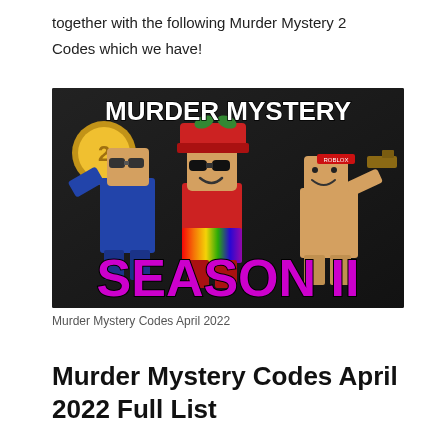together with the following Murder Mystery 2 Codes which we have!
[Figure (illustration): Roblox Murder Mystery 2 Season 11 promotional image showing three blocky Roblox characters on a dark background. The title 'MURDER MYSTERY' appears in white bold text at the top, and 'SEASON 11' appears in large purple bold text at the bottom. A gold coin with '2' is visible on the left.]
Murder Mystery Codes April 2022
Murder Mystery Codes April 2022 Full List